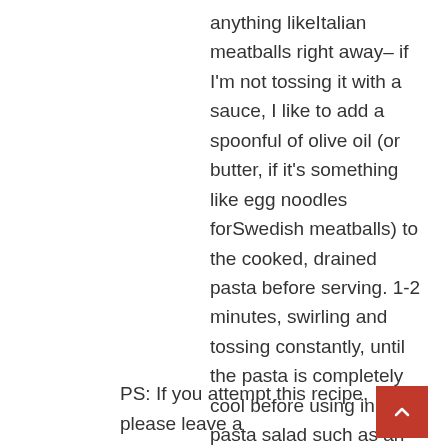anything likeItalian meatballs right away– if I'm not tossing it with a sauce, I like to add a spoonful of olive oil (or butter, if it's something like egg noodles forSwedish meatballs) to the cooked, drained pasta before serving. 1-2 minutes, swirling and tossing constantly, until the pasta is completely cool before using in a pasta salad such as an Italian pasta salad, a Greek pasta salad, abacon ranch pasta salad, amacaroni salad, or any other pasta salad.
PS: If you attempt this recipe, please leave a